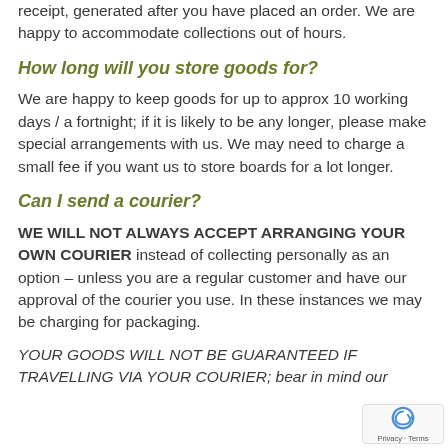receipt, generated after you have placed an order. We are happy to accommodate collections out of hours.
How long will you store goods for?
We are happy to keep goods for up to approx 10 working days / a fortnight; if it is likely to be any longer, please make special arrangements with us. We may need to charge a small fee if you want us to store boards for a lot longer.
Can I send a courier?
WE WILL NOT ALWAYS ACCEPT ARRANGING YOUR OWN COURIER instead of collecting personally as an option – unless you are a regular customer and have our approval of the courier you use. In these instances we may be charging for packaging.
YOUR GOODS WILL NOT BE GUARANTEED IF TRAVELLING VIA YOUR COURIER; bear in mind our